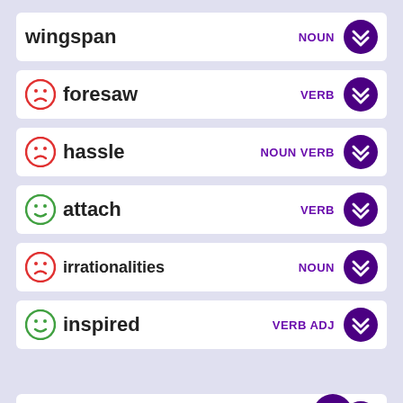wingspan — NOUN
foresaw — VERB
hassle — NOUN VERB
attach — VERB
irrationalities — NOUN
inspired — VERB ADJ
cacophony — NOUN